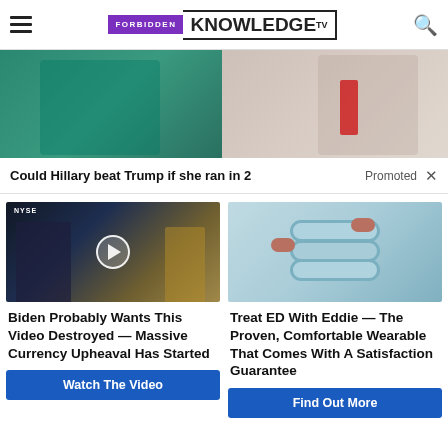FORBIDDEN KNOWLEDGE TV
[Figure (photo): Hero image split: left side shows a person in teal/green, right side shows a man in suit with red tie]
Could Hillary beat Trump if she ran in 2  Promoted ×
[Figure (screenshot): News video thumbnail showing man in suit at NYSE studio]
Biden Probably Wants This Video Destroyed — Massive Currency Upheaval Has Started
Watch The Video
[Figure (photo): Light blue wearable device rings stacked]
Treat ED With Eddie — The Proven, Comfortable Wearable That Comes With A Satisfaction Guarantee
Find Out More